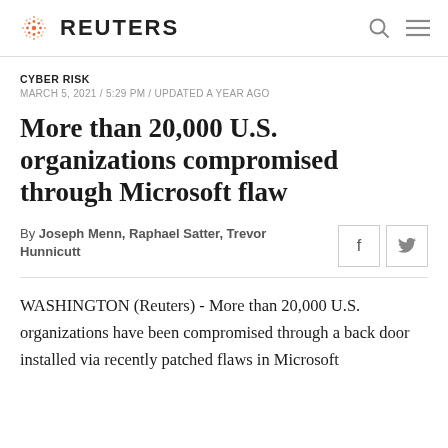REUTERS
CYBER RISK
MARCH 5, 2021 / 5:29 PM / UPDATED A YEAR AGO
More than 20,000 U.S. organizations compromised through Microsoft flaw
By Joseph Menn, Raphael Satter, Trevor Hunnicutt
WASHINGTON (Reuters) - More than 20,000 U.S. organizations have been compromised through a back door installed via recently patched flaws in Microsoft